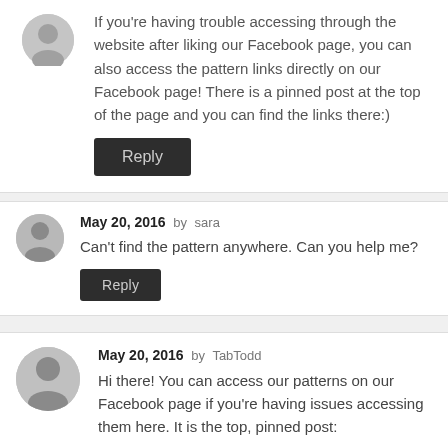If you're having trouble accessing through the website after liking our Facebook page, you can also access the pattern links directly on our Facebook page! There is a pinned post at the top of the page and you can find the links there:)
Reply
May 20, 2016 by sara
Can't find the pattern anywhere. Can you help me?
Reply
May 20, 2016 by TabTodd
Hi there! You can access our patterns on our Facebook page if you're having issues accessing them here. It is the top, pinned post: